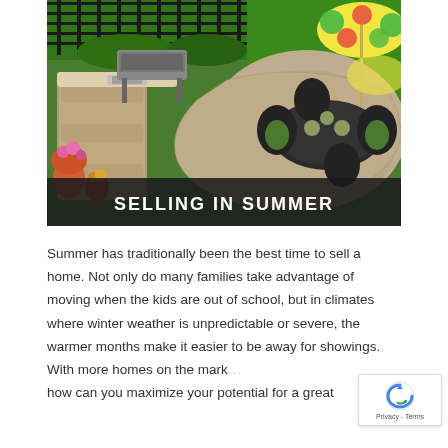[Figure (photo): Aerial/overhead view of an outdoor patio kitchen area with a built-in stone countertop, grill, and sink on the left, and a round dining table with black wicker chairs and a colorful floral umbrella on the right. Stone pavers and green lawn visible. Text overlay at bottom reads 'SELLING IN SUMMER'.]
Summer has traditionally been the best time to sell a home. Not only do many families take advantage of moving when the kids are out of school, but in climates where winter weather is unpredictable or severe, the warmer months make it easier to be away for showings. With more homes on the market, how can you maximize your potential for a great